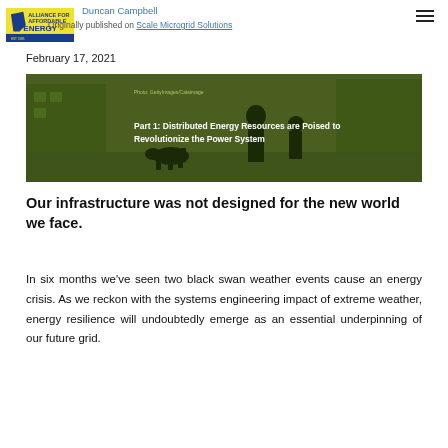Duncan Campbell | Originally published on Scale Microgrid Solutions
February 17, 2021
[Figure (photo): Green-tinted winter street scene with people walking a dog and text overlay: 'Part 1: Distributed Energy Resources are Poised to Revolutionize the Power System']
Our infrastructure was not designed for the new world we face.
In six months we've seen two black swan weather events cause an energy crisis. As we reckon with the systems engineering impact of extreme weather, energy resilience will undoubtedly emerge as an essential underpinning of our future grid.